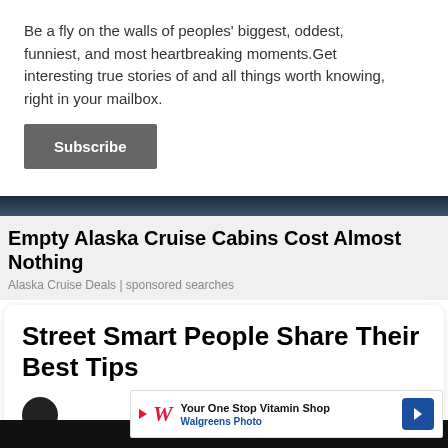Be a fly on the walls of peoples' biggest, oddest, funniest, and most heartbreaking moments.Get interesting true stories of and all things worth knowing, right in your mailbox.
Subscribe
Empty Alaska Cruise Cabins Cost Almost Nothing
Alaska Cruise Deals | sponsored searches
Street Smart People Share Their Best Tips
[Figure (screenshot): Walgreens advertisement banner: Your One Stop Vitamin Shop, Walgreens Photo]